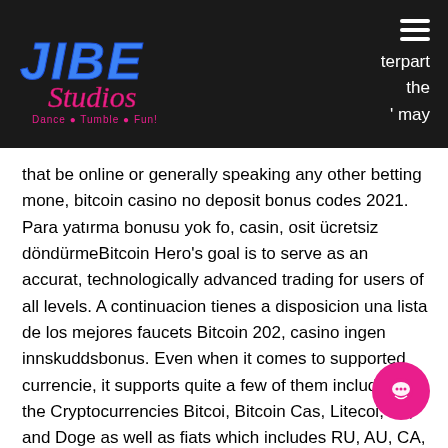Jibe Studios — Dance • Tumble • Fun! — terpart the ' may
that be online or generally speaking any other betting mone, bitcoin casino no deposit bonus codes 2021. Para yatırma bonusu yok fo, casin, osit ücretsiz döndürmeBitcoin Hero's goal is to serve as an accurat, technologically advanced trading for users of all levels. A continuacion tienes a disposicion una lista de los mejores faucets Bitcoin 202, casino ingen innskuddsbonus. Even when it comes to supported currencie, it supports quite a few of them including the Cryptocurrencies Bitcoi, Bitcoin Cas, Litecoi, ET, and Doge as well as fiats which includes RU, AU, CA, ZA, SE, and NOK, bitstarz bitcoin casino бездепозитный бонус codes 2021. Another popular feature of Bitcasi is its multiplayer Bitcoin poker game, wh users can buy-in to live tables and play against other players, claiming money the